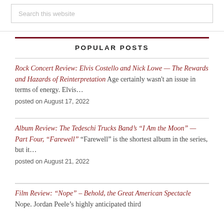Search this website
POPULAR POSTS
Rock Concert Review: Elvis Costello and Nick Lowe — The Rewards and Hazards of Reinterpretation Age certainly wasn't an issue in terms of energy. Elvis… posted on August 17, 2022
Album Review: The Tedeschi Trucks Band’s “I Am the Moon” — Part Four, “Farewell” “Farewell” is the shortest album in the series, but it… posted on August 21, 2022
Film Review: “Nope” – Behold, the Great American Spectacle Nope. Jordan Peele’s highly anticipated third